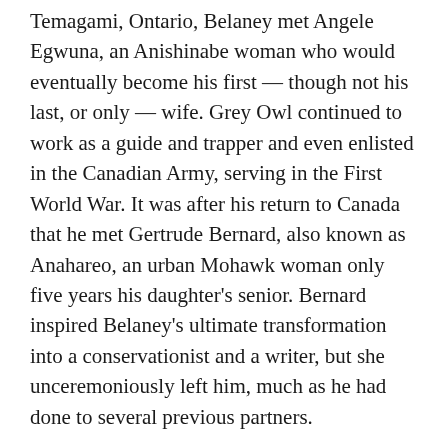Temagami, Ontario, Belaney met Angele Egwuna, an Anishinabe woman who would eventually become his first — though not his last, or only — wife. Grey Owl continued to work as a guide and trapper and even enlisted in the Canadian Army, serving in the First World War. It was after his return to Canada that he met Gertrude Bernard, also known as Anahareo, an urban Mohawk woman only five years his daughter's senior. Bernard inspired Belaney's ultimate transformation into a conservationist and a writer, but she unceremoniously left him, much as he had done to several previous partners.
Belaney's story and writings offer a fascinating glimpse